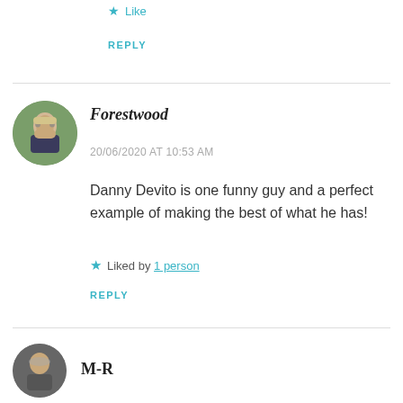★ Like
REPLY
Forestwood
20/06/2020 AT 10:53 AM
Danny Devito is one funny guy and a perfect example of making the best of what he has!
★ Liked by 1 person
REPLY
M-R